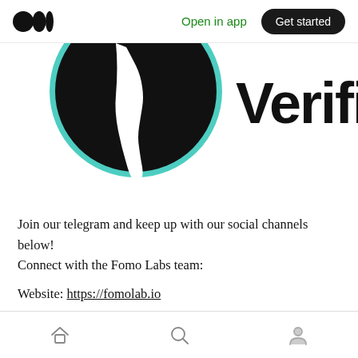Open in app  Get started
[Figure (logo): Partially visible circular black logo with a white hand/cursor icon and teal border, next to bold text 'Verified' in a stylized font, cropped at top]
Join our telegram and keep up with our social channels below!
Connect with the Fomo Labs team:
Website: https://fomolab.io
Twitter — https://twitter.com/fomo_lab
Home  Search  Profile